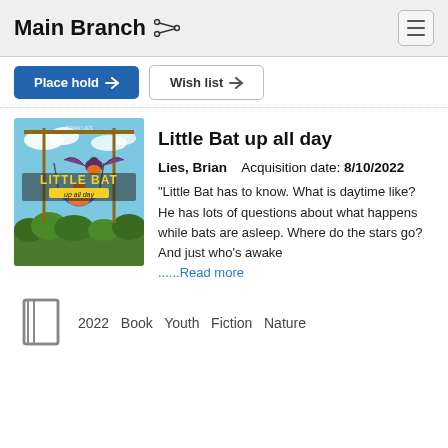Main Branch
[Figure (screenshot): Place hold and Wish list buttons]
[Figure (illustration): Book cover: Little Bat up all day by Brian Lies, illustrated cover showing a bat flying with other characters on a sunny day]
Little Bat up all day
Lies, Brian    Acquisition date: 8/10/2022
"Little Bat has to know. What is daytime like? He has lots of questions about what happens while bats are asleep. Where do the stars go? And just who's awake ......Read more
2022   Book   Youth   Fiction   Nature